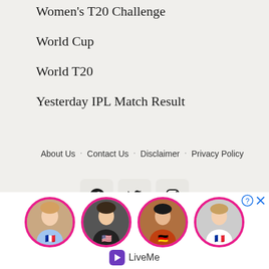Women's T20 Challenge
World Cup
World T20
Yesterday IPL Match Result
About Us  Contact Us  Disclaimer  Privacy Policy
[Figure (screenshot): Social media icon buttons for Facebook, Twitter, and Instagram]
[Figure (infographic): LiveMe advertisement banner with four circular avatar photos with pink borders and flag emojis, and LiveMe logo at bottom]